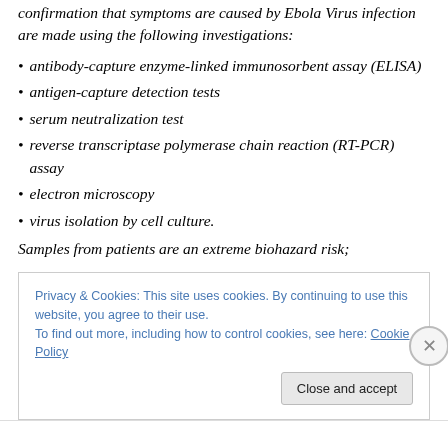Confirmation that symptoms are caused by Ebola Virus infection are made using the following investigations:
antibody-capture enzyme-linked immunosorbent assay (ELISA)
antigen-capture detection tests
serum neutralization test
reverse transcriptase polymerase chain reaction (RT-PCR) assay
electron microscopy
virus isolation by cell culture.
Samples from patients are an extreme biohazard risk;
Privacy & Cookies: This site uses cookies. By continuing to use this website, you agree to their use.
To find out more, including how to control cookies, see here: Cookie Policy